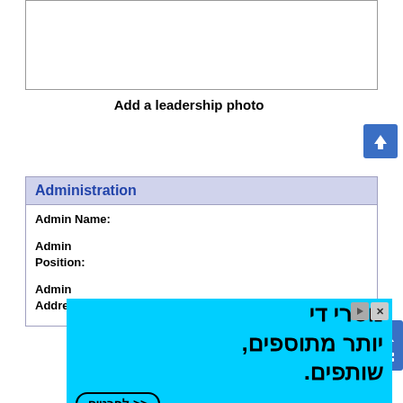[Figure (other): Empty photo upload box for leadership photo]
Add a leadership photo
Administration
Admin Name:
Admin Position:
Admin Address:
[Figure (infographic): Advertisement banner in Hebrew with cyan background, text reading: נוטרי די יותר מתוספים, שותפים. with a details button << לפרטים]